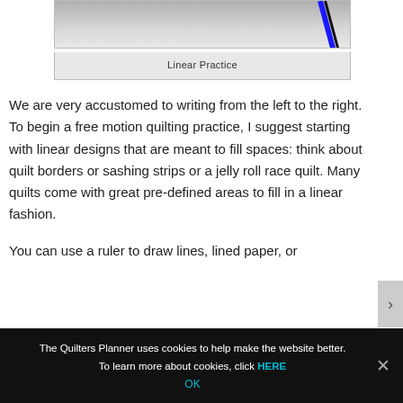[Figure (photo): A photograph showing a pen or pencil against a light background, partially visible at the top of the page. The image is cropped showing just the writing instrument.]
Linear Practice
We are very accustomed to writing from the left to the right. To begin a free motion quilting practice, I suggest starting with linear designs that are meant to fill spaces: think about quilt borders or sashing strips or a jelly roll race quilt. Many quilts come with great pre-defined areas to fill in a linear fashion.
You can use a ruler to draw lines, lined paper, or
The Quilters Planner uses cookies to help make the website better. To learn more about cookies, click HERE
OK